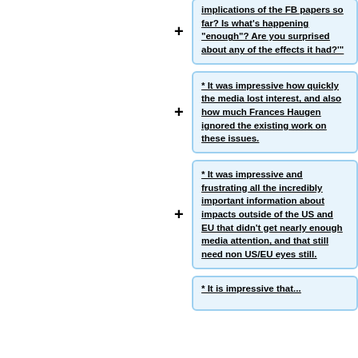implications of the FB papers so far? Is what's happening "enough"? Are you surprised about any of the effects it had?'"
* It was impressive how quickly the media lost interest, and also how much Frances Haugen ignored the existing work on these issues.
* It was impressive and frustrating all the incredibly important information about impacts outside of the US and EU that didn't get nearly enough media attention, and that still need non US/EU eyes still.
* It is impressive that...